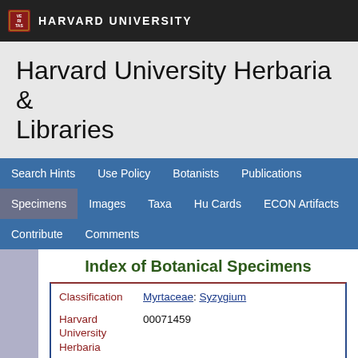HARVARD UNIVERSITY
Harvard University Herbaria & Libraries
Index of Botanical Specimens
| Field | Value |
| --- | --- |
| Classification | Myrtaceae: Syzygium |
| Harvard University Herbaria Barcode(s) | 00071459 |
| Type Status | Holotype |
| Collector | L. J. Brass & C. Versteegh |
| Collector number | 14030 |
| Country | Indonesia |